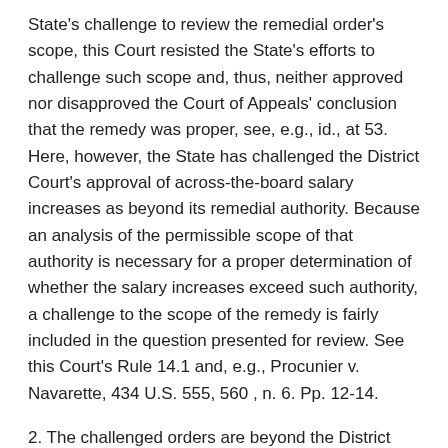State's challenge to review the remedial order's scope, this Court resisted the State's efforts to challenge such scope and, thus, neither approved nor disapproved the Court of Appeals' conclusion that the remedy was proper, see, e.g., id., at 53. Here, however, the State has challenged the District Court's approval of across-the-board salary increases as beyond its remedial authority. Because an analysis of the permissible scope of that authority is necessary for a proper determination of whether the salary increases exceed such authority, a challenge to the scope of the remedy is fairly included in the question presented for review. See this Court's Rule 14.1 and, e.g., Procunier v. Navarette, 434 U.S. 555, 560 , n. 6. Pp. 12-14.
2. The challenged orders are beyond the District Court's remedial authority. Pp. 14-32.
(a) Although a District Court necessarily has discretion to fashion a remedy for a school district unconstitutionally